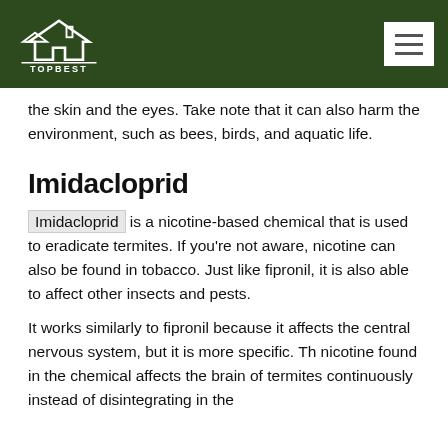TOPBEST
the skin and the eyes. Take note that it can also harm the environment, such as bees, birds, and aquatic life.
Imidacloprid
Imidacloprid is a nicotine-based chemical that is used to eradicate termites. If you're not aware, nicotine can also be found in tobacco. Just like fipronil, it is also able to affect other insects and pests.
It works similarly to fipronil because it affects the central nervous system, but it is more specific. The nicotine found in the chemical affects the brain of termites continuously instead of disintegrating in the